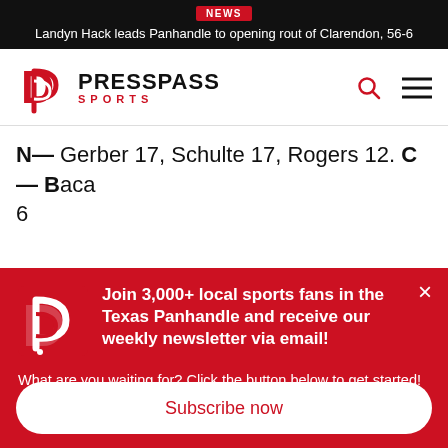NEWS
Landyn Hack leads Panhandle to opening rout of Clarendon, 56-6
[Figure (logo): Press Pass Sports logo — red DP monogram with PRESSPASS SPORTS text]
N— Gerber 17, Schulte 17, Rogers 12. C— Baca 6
Join 3,000+ local sports fans in the Texas Panhandle and receive our weekly newsletter via email!
What are you waiting for? Click the button below to get started! 👇 ✉️
Subscribe now